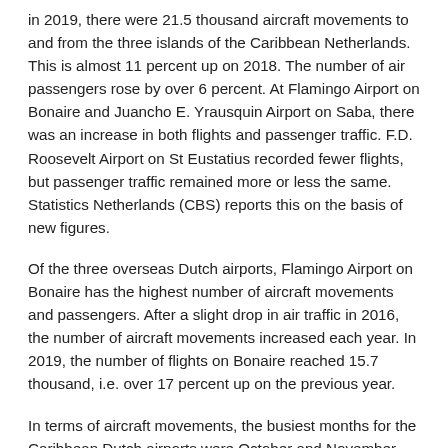in 2019, there were 21.5 thousand aircraft movements to and from the three islands of the Caribbean Netherlands. This is almost 11 percent up on 2018. The number of air passengers rose by over 6 percent. At Flamingo Airport on Bonaire and Juancho E. Yrausquin Airport on Saba, there was an increase in both flights and passenger traffic. F.D. Roosevelt Airport on St Eustatius recorded fewer flights, but passenger traffic remained more or less the same. Statistics Netherlands (CBS) reports this on the basis of new figures.
Of the three overseas Dutch airports, Flamingo Airport on Bonaire has the highest number of aircraft movements and passengers. After a slight drop in air traffic in 2016, the number of aircraft movements increased each year. In 2019, the number of flights on Bonaire reached 15.7 thousand, i.e. over 17 percent up on the previous year.
In terms of aircraft movements, the busiest months for the Caribbean Dutch airports were October and November, with 2.3 thousand flights each; February was the slowest month (1.9 thousand flights).